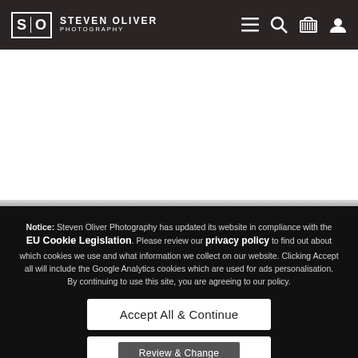[Figure (screenshot): Steven Oliver Photography website header with logo and navigation icons (hamburger menu, search, cart, user account) on dark background]
[Figure (screenshot): White blank content area of a photography website]
Notice: Steven Oliver Photography has updated its website in compliance with the EU Cookie Legislation. Please review our privacy policy to find out about which cookies we use and what information we collect on our website. Clicking Accept all will include the Google Analytics cookies which are used for ads personalisation. By continuing to use this site, you are agreeing to our policy.
Accept All & Continue
Review & Change